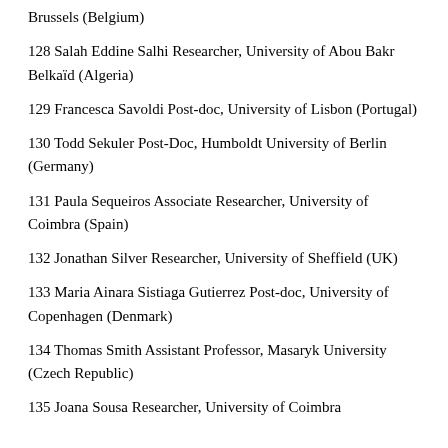Brussels (Belgium)
128 Salah Eddine Salhi Researcher, University of Abou Bakr Belkaïd (Algeria)
129 Francesca Savoldi Post-doc, University of Lisbon (Portugal)
130 Todd Sekuler Post-Doc, Humboldt University of Berlin (Germany)
131 Paula Sequeiros Associate Researcher, University of Coimbra (Spain)
132 Jonathan Silver Researcher, University of Sheffield (UK)
133 Maria Ainara Sistiaga Gutierrez Post-doc, University of Copenhagen (Denmark)
134 Thomas Smith Assistant Professor, Masaryk University (Czech Republic)
135 Joana Sousa Researcher, University of Coimbra